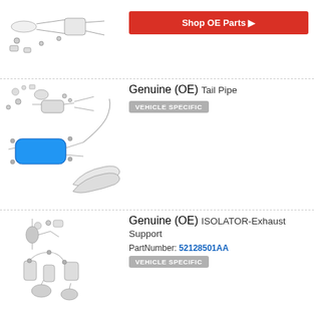[Figure (engineering-diagram): Exhaust system exploded diagram (partial, top row) with small gasket/ring part thumbnail on right]
Shop OE Parts ▶
Genuine (OE) Tail Pipe
VEHICLE SPECIFIC
[Figure (engineering-diagram): Exploded exhaust system diagram with highlighted blue muffler/resonator part and separate tail pipe thumbnail]
Shop OE Parts ▶
Genuine (OE) ISOLATOR-Exhaust Support
PartNumber: 52128501AA
VEHICLE SPECIFIC
[Figure (engineering-diagram): Exploded exhaust hanger/isolator system diagram]